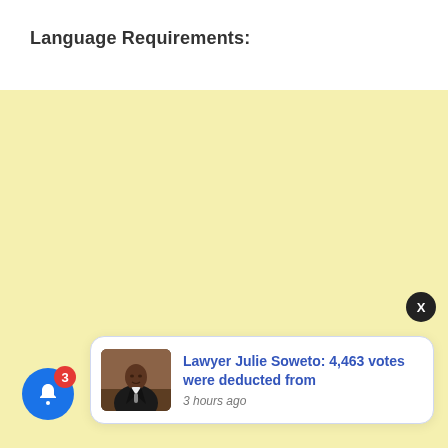Language Requirements:
[Figure (screenshot): Yellow background area (empty content region)]
[Figure (infographic): Browser push notification card showing a photo of a lawyer and text: 'Lawyer Julie Soweto: 4,463 votes were deducted from' with timestamp '3 hours ago'. Includes a blue bell notification button with badge showing '3', and a black X close button.]